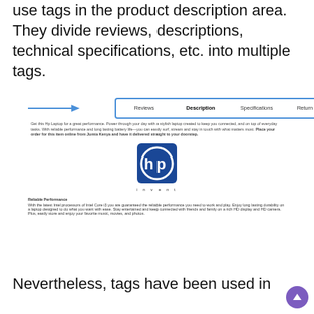use tags in the product description area. They divide reviews, descriptions, technical specifications, etc. into multiple tags.
[Figure (screenshot): Screenshot of a product page showing a tab navigation bar with tabs: Reviews, Description (active/bold), Specifications, Return Policy. Below is a product description text for an HP laptop, an HP Invent logo, and a Reliable Performance section.]
Nevertheless, tags have been used in